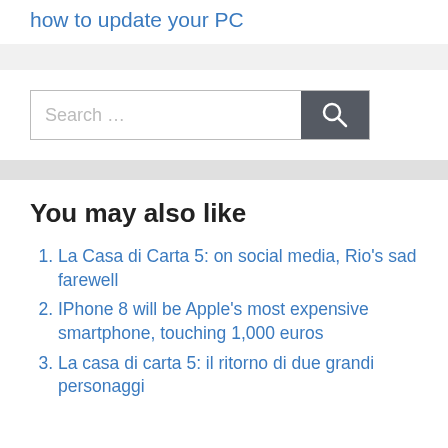how to update your PC
[Figure (other): Search box with text 'Search …' and a dark gray search button with magnifying glass icon]
You may also like
La Casa di Carta 5: on social media, Rio's sad farewell
IPhone 8 will be Apple's most expensive smartphone, touching 1,000 euros
La casa di carta 5: il ritorno di due grandi personaggi